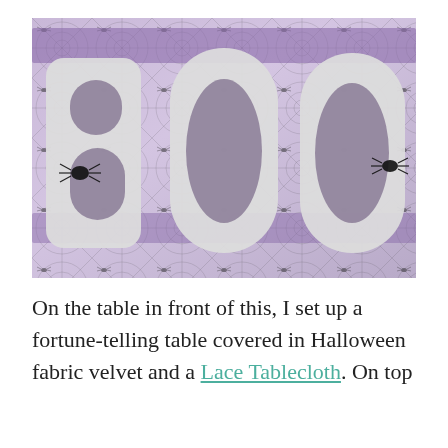[Figure (photo): Close-up photo of glittery silver 'BOO' letters on a Halloween-themed tablecloth with spider web and spider patterns in purple and black.]
On the table in front of this, I set up a fortune-telling table covered in Halloween fabric velvet and a Lace Tablecloth. On top